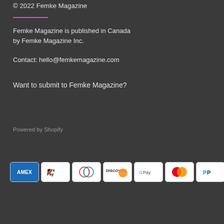© 2022 Femke Magazine
Femke Magazine is published in Canada by Femke Magazine Inc.
Contact: hello@femkemagazine.com
Want to submit to Femke Magazine?
Powered by Shopify
[Figure (other): Payment method icons: AMEX, Apple Pay, Diners Club, Discover, Google Pay, Mastercard, PayPal, Shop Pay, Visa]